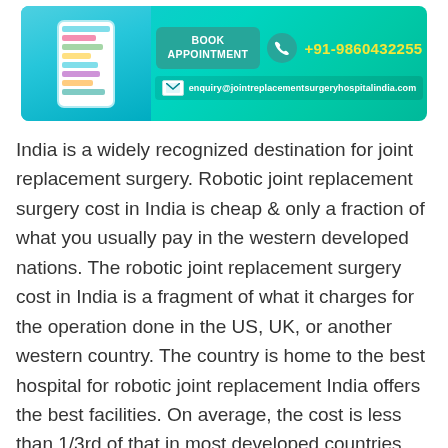[Figure (infographic): Medical appointment booking banner with phone image on left, 'BOOK APPOINTMENT' button, phone number +91-9860432255 in yellow, and email enquiry@jointreplacementsurgeryhospitalindia.com on teal/cyan gradient background]
India is a widely recognized destination for joint replacement surgery. Robotic joint replacement surgery cost in India is cheap & only a fraction of what you usually pay in the western developed nations. The robotic joint replacement surgery cost in India is a fragment of what it charges for the operation done in the US, UK, or another western country. The country is home to the best hospital for robotic joint replacement India offers the best facilities. On average, the cost is less than 1/3rd of that in most developed countries. The hospitals have committed themselves to specialization in this field alone. This has emerged as possible in